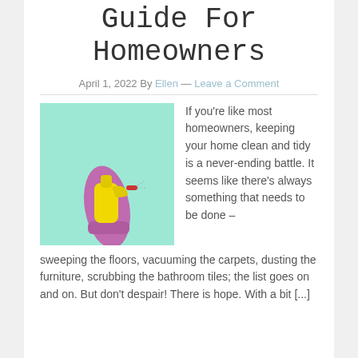Guide For Homeowners
April 1, 2022 By Ellen — Leave a Comment
[Figure (photo): A hand wearing a pink rubber glove holding a yellow spray bottle, against a mint/turquoise background.]
If you're like most homeowners, keeping your home clean and tidy is a never-ending battle. It seems like there's always something that needs to be done – sweeping the floors, vacuuming the carpets, dusting the furniture, scrubbing the bathroom tiles; the list goes on and on. But don't despair! There is hope. With a bit [...]